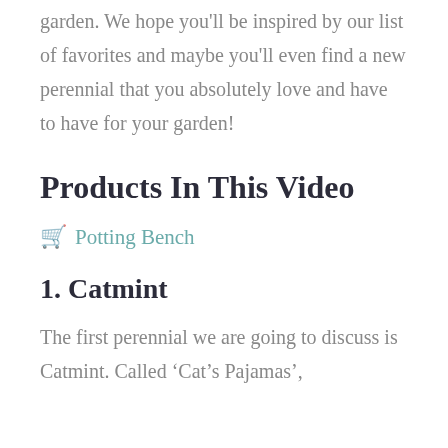garden. We hope you'll be inspired by our list of favorites and maybe you'll even find a new perennial that you absolutely love and have to have for your garden!
Products In This Video
🛒 Potting Bench
1. Catmint
The first perennial we are going to discuss is Catmint. Called 'Cat's Pajamas',